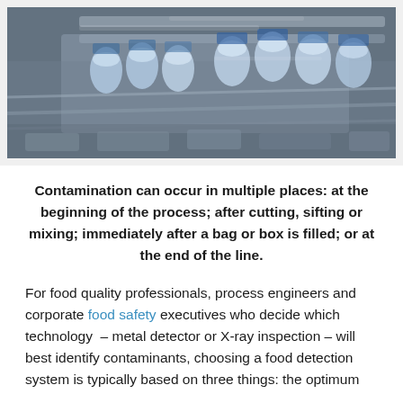[Figure (photo): Overhead view of an industrial food/beverage bottling line with blue and white cans or bottles moving on a conveyor belt system, metallic machinery visible.]
Contamination can occur in multiple places: at the beginning of the process; after cutting, sifting or mixing; immediately after a bag or box is filled; or at the end of the line.
For food quality professionals, process engineers and corporate food safety executives who decide which technology – metal detector or X-ray inspection – will best identify contaminants, choosing a food detection system is typically based on three things: the optimum